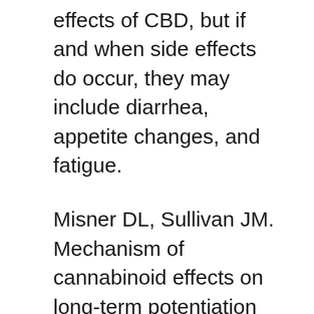effects of CBD, but if and when side effects do occur, they may include diarrhea, appetite changes, and fatigue.
Misner DL, Sullivan JM. Mechanism of cannabinoid effects on long-term potentiation and depression in hippocampal CA1 neurons. Structure of a cannabinoid receptor and functional Are CBD Gummies suitable for kids? expression of the cloned cDNA. Marsicano G, Lutz B. Expression of the cannabinoid receptor CB1 in distinct neuronal subpopulations in the adult mouse forebrain.
There are theories the endocannabinoid system functions better when CBD is regularly consumed. As an aside, there is